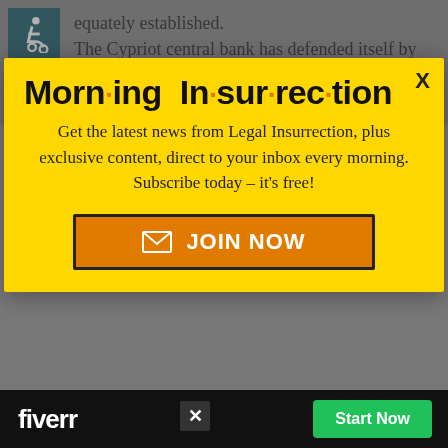equately established.
The Cypriot central bank has defended itself by saying that it was impossible to completely prevent all transactions, despite the account
[Figure (screenshot): Morning Insurrection newsletter popup overlay with yellow background. Title reads 'Morn·ing In·sur·rec·tion' with orange dots. Subtitle: 'Get the latest news from Legal Insurrection, plus exclusive content, direct to your inbox every morning. Subscribe today – it's free!' with an orange JOIN NOW button.]
savings accounts have been unable to access much of their money for almost two weeks, co... su...
[Figure (screenshot): Fiverr advertisement bar at the bottom with black background, fiverr logo in white, and a green 'Start Now' button.]